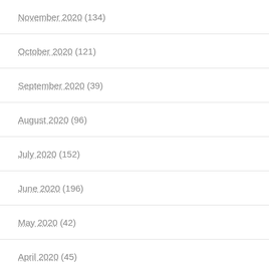November 2020 (134)
October 2020 (121)
September 2020 (39)
August 2020 (96)
July 2020 (152)
June 2020 (196)
May 2020 (42)
April 2020 (45)
March 2020 (81)
February 2020 (134)
January 2020 (20)
December 2019 (64)